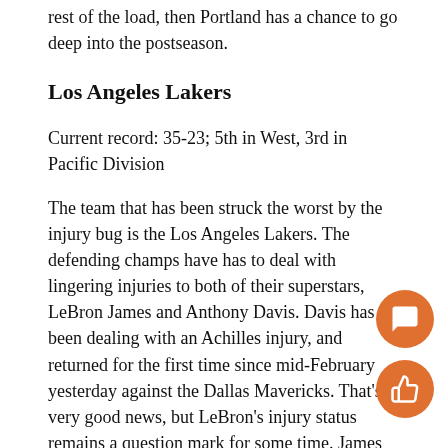rest of the load, then Portland has a chance to go deep into the postseason.
Los Angeles Lakers
Current record: 35-23; 5th in West, 3rd in Pacific Division
The team that has been struck the worst by the injury bug is the Los Angeles Lakers. The defending champs have has to deal with lingering injuries to both of their superstars, LeBron James and Anthony Davis. Davis has been dealing with an Achilles injury, and returned for the first time since mid-February yesterday against the Dallas Mavericks. That's very good news, but LeBron's injury status remains a question mark for some time. James injured his an in March, and head coach Frank Vogel states the no true date set for James' return. With AD and